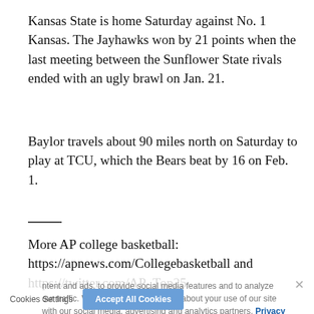Kansas State is home Saturday against No. 1 Kansas. The Jayhawks won by 21 points when the last meeting between the Sunflower State rivals ended with an ugly brawl on Jan. 21.
Baylor travels about 90 miles north on Saturday to play at TCU, which the Bears beat by 16 on Feb. 1.
More AP college basketball: https://apnews.com/Collegebasketball and https://twitter.com/AP_Top25
Latest News
Keyontae Johnson resuming college hoops career at K-State
By Mark Long